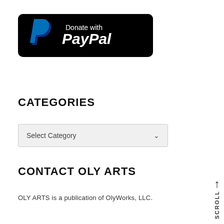[Figure (logo): Donate with PayPal button — black rounded rectangle with PayPal logo (blue P icon) on left and white text 'Donate with PayPal' on right]
CATEGORIES
Select Category
CONTACT OLY ARTS
OLY ARTS is a publication of OlyWorks, LLC.
SCROLL